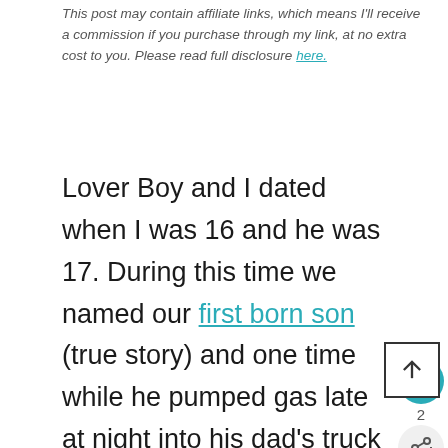This post may contain affiliate links, which means I'll receive a commission if you purchase through my link, at no extra cost to you. Please read full disclosure here.
Lover Boy and I dated when I was 16 and he was 17. During this time we named our first born son (true story) and one time while he pumped gas late at night into his dad's truck while driving me home from a band concert, I saw him in the rear view mirror and had a vision of spending the rest of my life with this – true story. However, being young and dumb all mixed into one, I broke up with him after